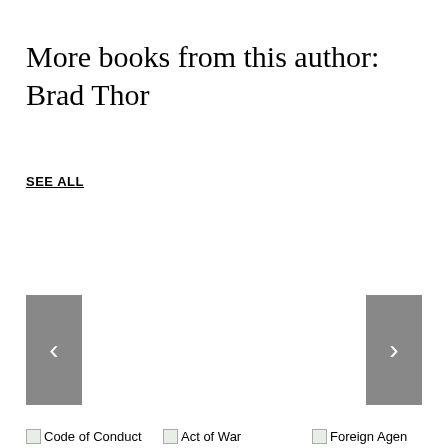More books from this author: Brad Thor
SEE ALL
[Figure (other): Left navigation arrow button (grey background with white chevron pointing left)]
[Figure (other): Right navigation arrow button (grey background with white chevron pointing right)]
[Figure (other): Book cover image placeholder for Code of Conduct]
Code of Conduct
[Figure (other): Book cover image placeholder for Act of War]
Act of War
[Figure (other): Book cover image placeholder for Foreign Agen]
Foreign Agen